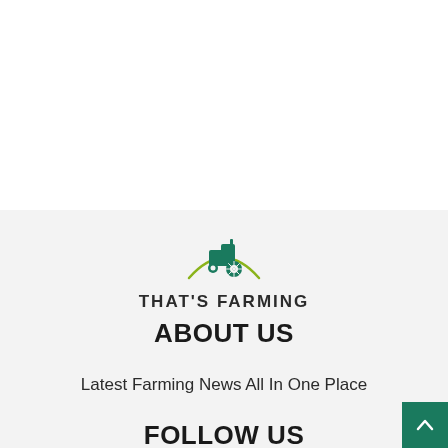[Figure (logo): That's Farming logo: green tractor icon with olive/green arc underneath, bold uppercase text THAT'S FARMING]
ABOUT US
Latest Farming News All In One Place
FOLLOW US